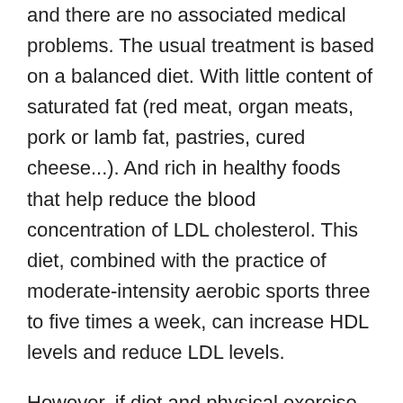and there are no associated medical problems. The usual treatment is based on a balanced diet. With little content of saturated fat (red meat, organ meats, pork or lamb fat, pastries, cured cheese...). And rich in healthy foods that help reduce the blood concentration of LDL cholesterol. This diet, combined with the practice of moderate-intensity aerobic sports three to five times a week, can increase HDL levels and reduce LDL levels.
However, if diet and physical exercise alone fail to lower levels or there are associated medical problems that require rapid intervention, treatment with drugs such as statins, exchange resins, phytosterols, fibrates, or ezetimibe.
You may also be interested in How the fats